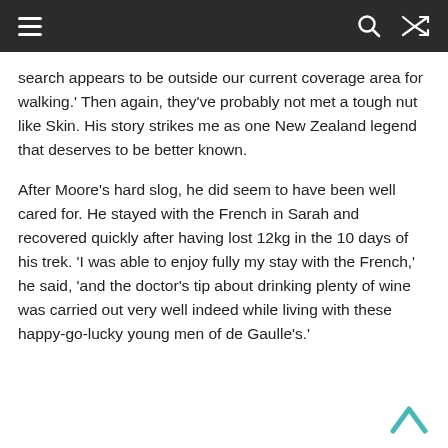[navigation bar with hamburger menu, search icon, shuffle icon]
search appears to be outside our current coverage area for walking.' Then again, they've probably not met a tough nut like Skin. His story strikes me as one New Zealand legend that deserves to be better known.
After Moore's hard slog, he did seem to have been well cared for. He stayed with the French in Sarah and recovered quickly after having lost 12kg in the 10 days of his trek. 'I was able to enjoy fully my stay with the French,' he said, 'and the doctor's tip about drinking plenty of wine was carried out very well indeed while living with these happy-go-lucky young men of de Gaulle's.'